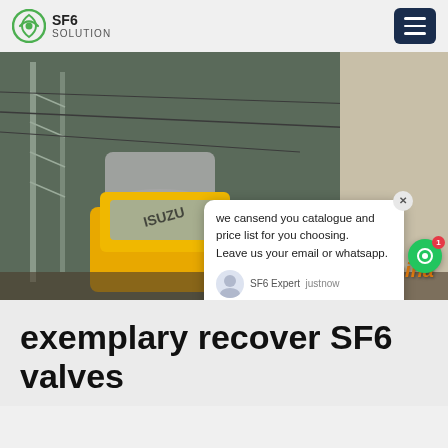SF6 SOLUTION
[Figure (photo): Yellow ISUZU truck crane working near electrical power transmission towers and cables, with industrial piping visible. Watermark 'SF6China' in orange at lower right.]
we cansend you catalogue and price list for you choosing. Leave us your email or whatsapp.
SF6 Expert   justnow
Write
exemplary recover SF6 valves